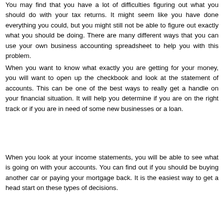You may find that you have a lot of difficulties figuring out what you should do with your tax returns. It might seem like you have done everything you could, but you might still not be able to figure out exactly what you should be doing. There are many different ways that you can use your own business accounting spreadsheet to help you with this problem.
When you want to know what exactly you are getting for your money, you will want to open up the checkbook and look at the statement of accounts. This can be one of the best ways to really get a handle on your financial situation. It will help you determine if you are on the right track or if you are in need of some new businesses or a loan.
When you look at your income statements, you will be able to see what is going on with your accounts. You can find out if you should be buying another car or paying your mortgage back. It is the easiest way to get a head start on these types of decisions.